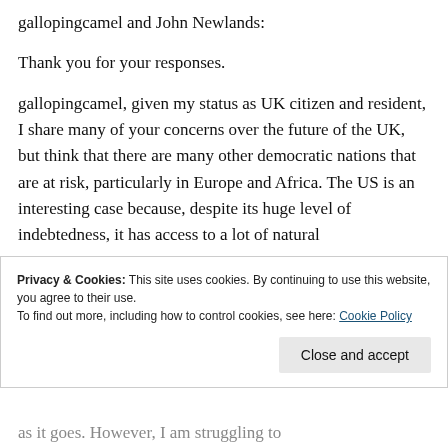gallopingcamel and John Newlands:
Thank you for your responses.
gallopingcamel, given my status as UK citizen and resident, I share many of your concerns over the future of the UK, but think that there are many other democratic nations that are at risk, particularly in Europe and Africa. The US is an interesting case because, despite its huge level of natural
Privacy & Cookies: This site uses cookies. By continuing to use this website, you agree to their use. To find out more, including how to control cookies, see here: Cookie Policy
as it goes. However, I am struggling to